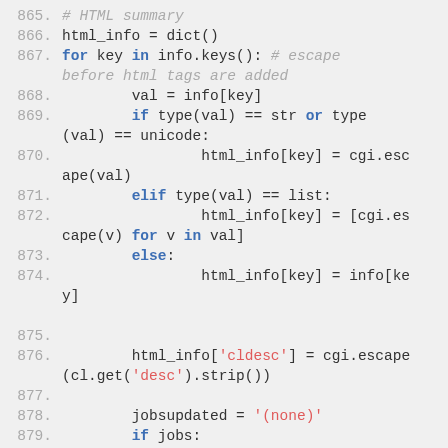Code listing lines 865-881, Python source code showing HTML summary generation with CGI escaping and job info template building.